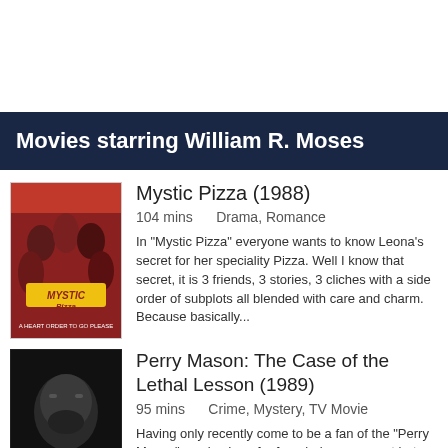Movies starring William R. Moses
[Figure (photo): Movie poster for Mystic Pizza (1988) showing group of people with red background and yellow stylized text]
Mystic Pizza (1988)
104 mins     Drama, Romance
In "Mystic Pizza" everyone wants to know Leona's secret for her speciality Pizza. Well I know that secret, it is 3 friends, 3 stories, 3 cliches with a side order of subplots all blended with care and charm. Because basically...
[Figure (photo): Movie poster for Perry Mason: The Case of the Lethal Lesson (1989) showing a man's face in dark tones with text PERRY MASON and THE CASE OF THE LETHAL LESSON]
Perry Mason: The Case of the Lethal Lesson (1989)
95 mins     Crime, Mystery, TV Movie
Having only recently come to be a fan of the "Perry Mason" movies I am far from being an expert but can easily spot the significance of "Perry Mason: The Case of the Lethal Lesson" as it was the movie to introduce as to the c...